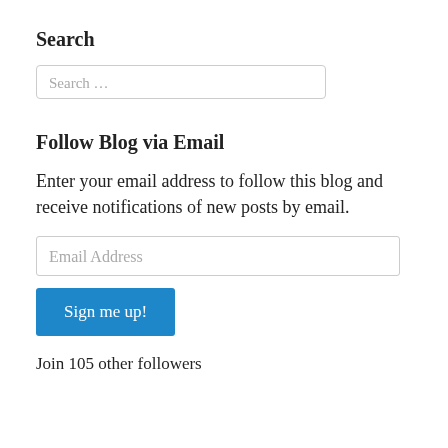Search
[Figure (screenshot): Search input box with placeholder text 'Search ...']
Follow Blog via Email
Enter your email address to follow this blog and receive notifications of new posts by email.
[Figure (screenshot): Email address input field with placeholder text 'Email Address' and a blue 'Sign me up!' button below it]
Join 105 other followers